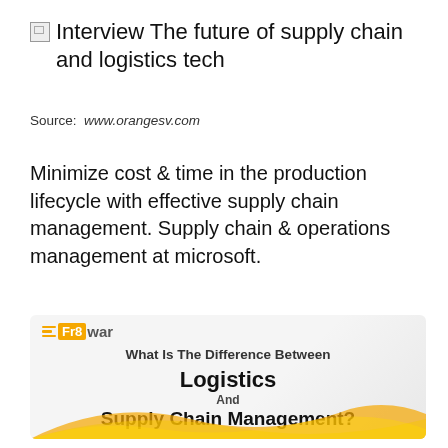Interview The future of supply chain and logistics tech
Source: www.orangesv.com
Minimize cost & time in the production lifecycle with effective supply chain management. Supply chain & operations management at microsoft.
[Figure (infographic): Fr8War logo infographic asking 'What Is The Difference Between Logistics And Supply Chain Management?' with gold wave decoration at bottom on light grey background.]